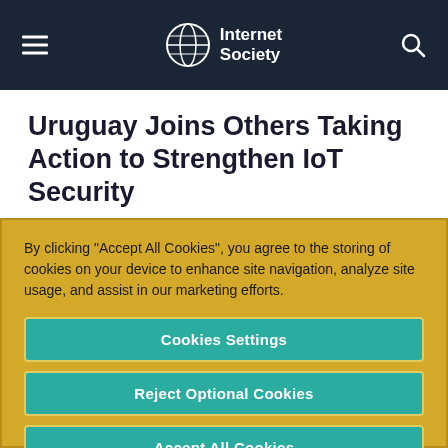Internet Society
Uruguay Joins Others Taking Action to Strengthen IoT Security
The use of Internet of Things devices has
By clicking “Accept All Cookies”, you agree to the storing of cookies on your device to enhance site navigation, analyze site usage, and assist in our marketing efforts.
Cookies Settings
Reject Optional Cookies
Accept All Cookies